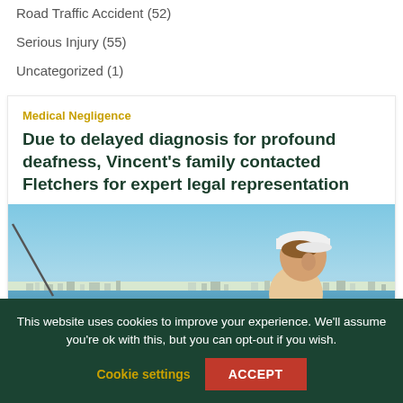Road Traffic Accident (52)
Serious Injury (55)
Uncategorized (1)
Medical Negligence
Due to delayed diagnosis for profound deafness, Vincent's family contacted Fletchers for expert legal representation
[Figure (photo): Young man wearing a white cap outdoors near water with buildings visible on the horizon. A fishing rod is visible on the left side.]
This website uses cookies to improve your experience. We'll assume you're ok with this, but you can opt-out if you wish.
Cookie settings   ACCEPT